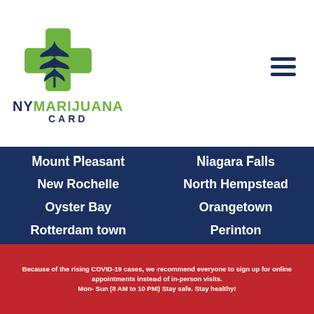[Figure (logo): NY Marijuana Card logo with cannabis leaf and medical cross symbol]
Mount Pleasant
Niagara Falls
New Rochelle
North Hempstead
Oyster Bay
Orangetown
Rotterdam town
Perinton
Queens
Rochester
Ramapo
Staten Island
Schenectady
Smithtown
Because of the rising COVID-19 cases, we recommend everyone to sign up for online appointments instead of in-person visits. Mon- Sun (8 AM to 10 PM) Stay safe. Stay healthy!